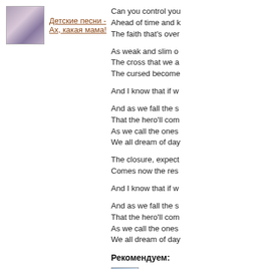[Figure (photo): Small thumbnail image of children's song cover]
Детские песни - Ах, какая мама!
Can you control you
Ahead of time and k
The faith that's over

As weak and slim o
The cross that we a
The cursed become

And I know that if w

And as we fall the s
That the hero'll com
As we call the ones
We all dream of day

The closure, expect
Comes now the res

And I know that if w

And as we fall the s
That the hero'll com
As we call the ones
We all dream of day
Рекомендуем:
[Figure (photo): Small thumbnail image for recommended item]
Влад Июнь - Эт